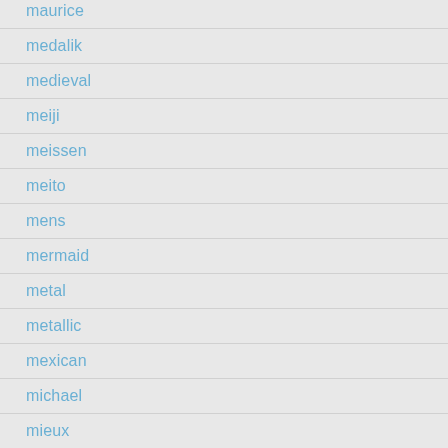maurice
medalik
medieval
meiji
meissen
meito
mens
mermaid
metal
metallic
mexican
michael
mieux